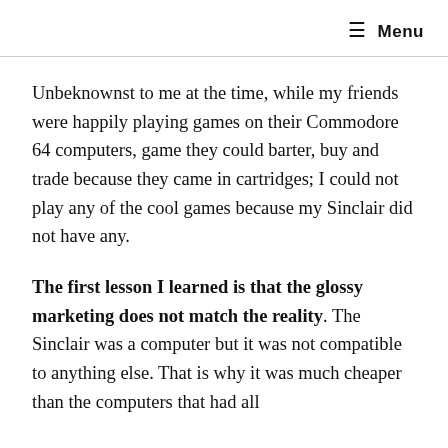☰ Menu
Unbeknownst to me at the time, while my friends were happily playing games on their Commodore 64 computers, game they could barter, buy and trade because they came in cartridges; I could not play any of the cool games because my Sinclair did not have any.
The first lesson I learned is that the glossy marketing does not match the reality. The Sinclair was a computer but it was not compatible to anything else. That is why it was much cheaper than the computers that had all